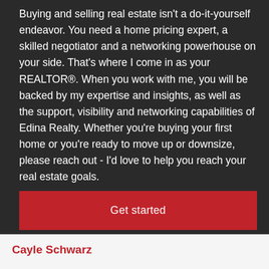Buying and selling real estate isn't a do-it-yourself endeavor. You need a home pricing expert, a skilled negotiator and a networking powerhouse on your side. That's where I come in as your REALTOR®. When you work with me, you will be backed by my expertise and insights, as well as the support, visibility and networking capabilities of Edina Realty. Whether you're buying your first home or you're ready to move up or downsize, please reach out - I'd love to help you reach your real estate goals.
Get started
Cayle Schwarz